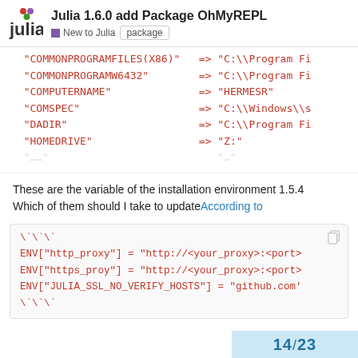Julia 1.6.0 add Package OhMyREPL — New to Julia | package
[Figure (screenshot): Code block showing environment variable key-value pairs: COMMONPROGRAMFILES(X86), COMMONPROGRAMW6432, COMPUTERNAME => HERMESR, COMSPEC => C:\Windows\s, DADIR => C:\Program Fi, HOMEDRIVE => Z:]
These are the variable of the installation environment 1.5.4 Which of them should I take to update According to
[Figure (screenshot): Code block with backtick fences showing: ENV["http_proxy"] = "http://<your_proxy>:<port>", ENV["https_proy"] = "http://<your_proxy>:<port>", ENV["JULIA_SSL_NO_VERIFY_HOSTS"] = "github.com'"]
14 / 23